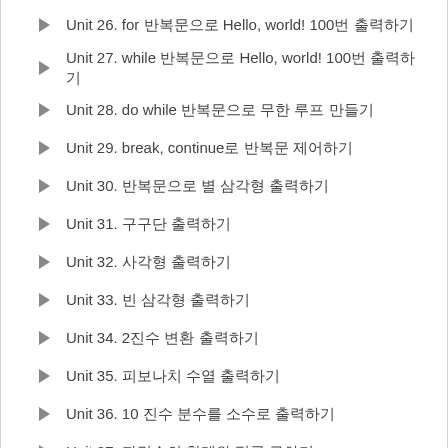Unit 26. for 반복문으로 Hello, world! 100번 출력하기
Unit 27. while 반복문으로 Hello, world! 100번 출력하기
Unit 28. do while 반복문으로 무한 루프 만들기
Unit 29. break, continue로 반복문 제어하기
Unit 30. 반복문으로 별 삼각형 출력하기
Unit 31. 구구단 출력하기
Unit 32. 사각형 출력하기
Unit 33. 빈 삼각형 출력하기
Unit 34. 2진수 변환 출력하기
Unit 35. 피보나치 수열 출력하기
Unit 36. 10 진수 분수를 소수로 출력하기
Unit 37. 자릿수의 합계와 평균 구하기
Unit 38. 한글로 숫자를 입력한 후